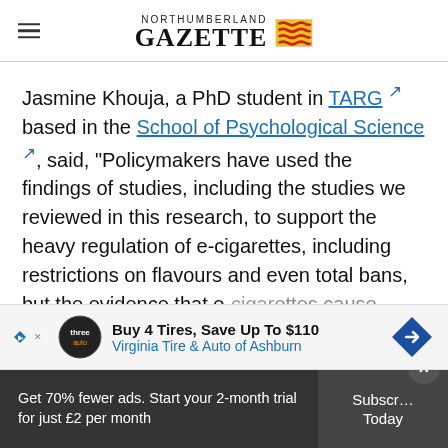Northumberland Gazette
Jasmine Khouja, a PhD student in TARG based in the School of Psychological Science, said, "Policymakers have used the findings of studies, including the studies we reviewed in this research, to support the heavy regulation of e-cigarettes, including restrictions on flavours and even total bans, but the evidence that e-cigarettes cause young people who wouldn't otherwise smoke to take up smoking is not as strong as it might appear."